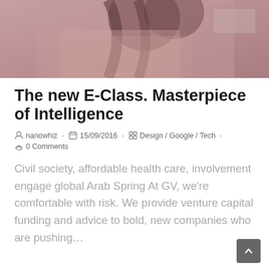[Figure (photo): Close-up photo of what appears to be mechanical or electronic components with a pinkish-purple tinted overlay, showing dark metallic parts and connectors.]
The new E-Class. Masterpiece of Intelligence
nanowhiz  -  15/09/2016  -  Design / Google / Tech  -
0 Comments
Civil society, affordable health care, involvement engage global Arab Spring At GV, we're comfortable with risk. We provide venture capital funding and advice to bold, new companies who are pushing…